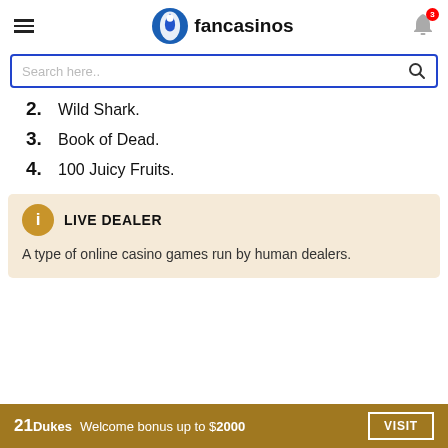fancasinos
[Figure (screenshot): Search bar with blue border and search icon]
2. Wild Shark.
3. Book of Dead.
4. 100 Juicy Fruits.
LIVE DEALER
A type of online casino games run by human dealers.
21Dukes Welcome bonus up to $2000 VISIT